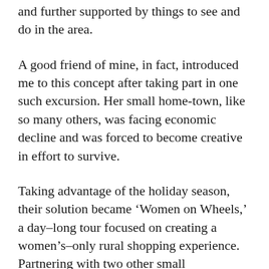and further supported by things to see and do in the area.
A good friend of mine, in fact, introduced me to this concept after taking part in one such excursion. Her small home-town, like so many others, was facing economic decline and was forced to become creative in effort to survive.
Taking advantage of the holiday season, their solution became ‘Women on Wheels,’ a day-long tour focused on creating a women’s-only rural shopping experience. Partnering with two other small communities, the tour stops at a dozen participating stores – many which offer special discounts, activities (e.g. photos with Santa, complimentary